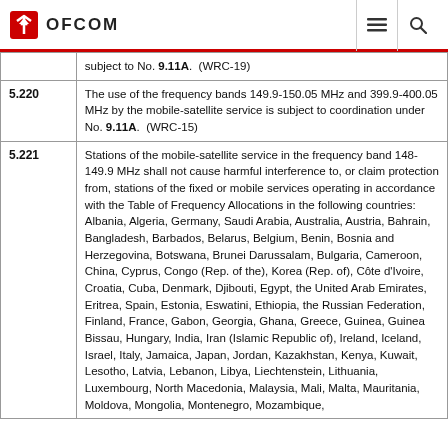OFCOM
| No. | Text |
| --- | --- |
|  | subject to No. 9.11A.  (WRC-19) |
| 5.220 | The use of the frequency bands 149.9-150.05 MHz and 399.9-400.05 MHz by the mobile-satellite service is subject to coordination under No. 9.11A.  (WRC-15) |
| 5.221 | Stations of the mobile-satellite service in the frequency band 148-149.9 MHz shall not cause harmful interference to, or claim protection from, stations of the fixed or mobile services operating in accordance with the Table of Frequency Allocations in the following countries: Albania, Algeria, Germany, Saudi Arabia, Australia, Austria, Bahrain, Bangladesh, Barbados, Belarus, Belgium, Benin, Bosnia and Herzegovina, Botswana, Brunei Darussalam, Bulgaria, Cameroon, China, Cyprus, Congo (Rep. of the), Korea (Rep. of), Côte d'Ivoire, Croatia, Cuba, Denmark, Djibouti, Egypt, the United Arab Emirates, Eritrea, Spain, Estonia, Eswatini, Ethiopia, the Russian Federation, Finland, France, Gabon, Georgia, Ghana, Greece, Guinea, Guinea Bissau, Hungary, India, Iran (Islamic Republic of), Ireland, Iceland, Israel, Italy, Jamaica, Japan, Jordan, Kazakhstan, Kenya, Kuwait, Lesotho, Latvia, Lebanon, Libya, Liechtenstein, Lithuania, Luxembourg, North Macedonia, Malaysia, Mali, Malta, Mauritania, Moldova, Mongolia, Montenegro, Mozambique, |